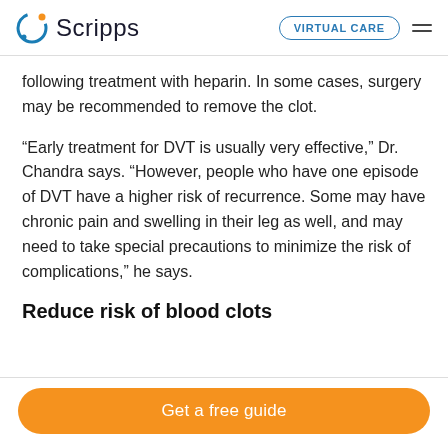Scripps | VIRTUAL CARE
following treatment with heparin. In some cases, surgery may be recommended to remove the clot.
“Early treatment for DVT is usually very effective,” Dr. Chandra says. “However, people who have one episode of DVT have a higher risk of recurrence. Some may have chronic pain and swelling in their leg as well, and may need to take special precautions to minimize the risk of complications,” he says.
Reduce risk of blood clots
Get a free guide